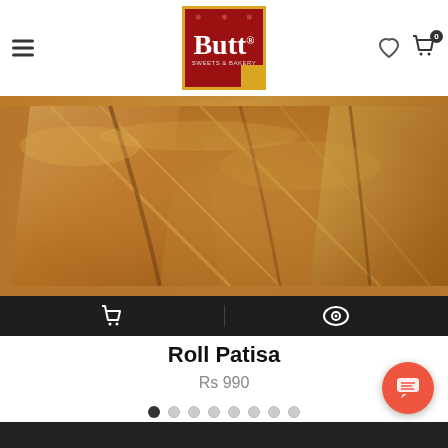Butt Sweets & Bakery — navigation header with logo, hamburger menu, heart icon, and cart icon (0 items)
[Figure (photo): Close-up photo of Roll Patisa — golden-brown layered sweet pastry slices arranged together, showing flaky cross-section texture]
Roll Patisa
Rs 990
Dark footer bar